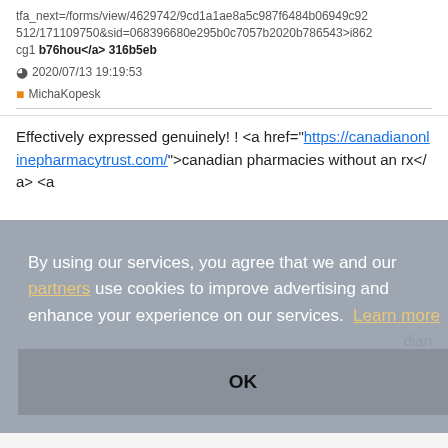tfa_next=/forms/view/4629742/9cd1a1ae8a5c987f6484b06949c92512/171109750&sid=068396680e295b0c7057b2020b786543>i862cg1 b76hou</a> 316b5eb
2020/07/13 19:19:53
MichaKopesk
Effectively expressed genuinely! ! <a href="https://canadianonlinepharmacytrust.com/">canadian pharmacies without an rx</a> <a
[Figure (screenshot): Cookie consent overlay with text: By using our services, you agree that we and our partners use cookies to improve advertising and enhance your experience on our services. Learn more. With an OK button below.]